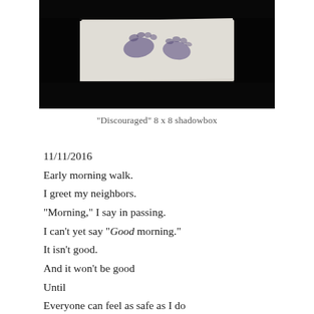[Figure (photo): A shadowbox artwork showing what appears to be footprints or feet on a white paper/fabric surface, set against a dark background. The artwork is titled 'Discouraged' and is an 8x8 shadowbox.]
“Discouraged” 8 x 8 shadowbox
11/11/2016
Early morning walk.
I greet my neighbors.
“Morning,” I say in passing.
I can’t yet say “Good morning.”
It isn’t good.
And it won’t be good
Until
Everyone can feel as safe as I do
Walking through their neighborhood.
And mine.